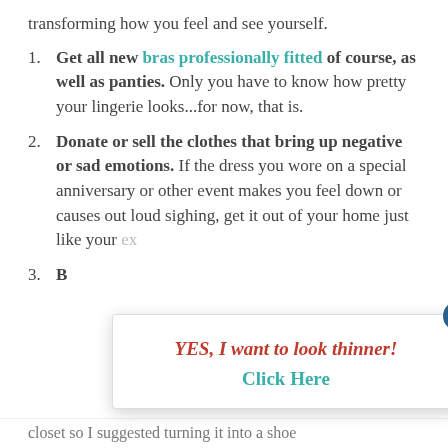transforming how you feel and see yourself.
Get all new bras professionally fitted of course, as well as panties. Only you have to know how pretty your lingerie looks...for now, that is.
Donate or sell the clothes that bring up negative or sad emotions. If the dress you wore on a special anniversary or other event makes you feel down or causes out loud sighing, get it out of your home just like your ex
3. [partially hidden by popup]
[Figure (screenshot): Modal popup overlay with close button (x), red bold text 'YES, I want to look thinner!' and teal bold text 'Click Here']
closet so I suggested turning it into a shoe